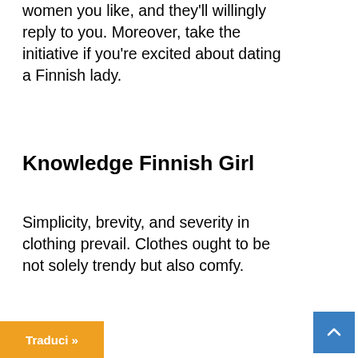women you like, and they'll willingly reply to you. Moreover, take the initiative if you're excited about dating a Finnish lady.
Knowledge Finnish Girl
Simplicity, brevity, and severity in clothing prevail. Clothes ought to be not solely trendy but also comfy.
How Do
Traduci »